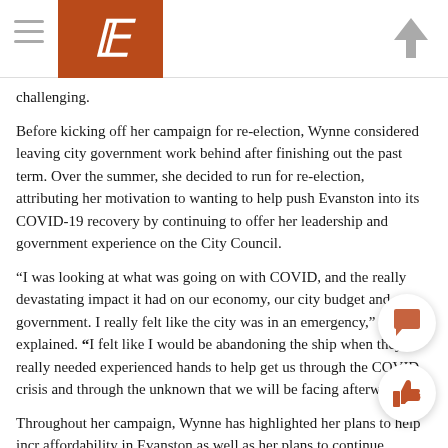The Daily Northwestern — navigation header with logo
challenging.
Before kicking off her campaign for re-election, Wynne considered leaving city government work behind after finishing out the past term. Over the summer, she decided to run for re-election, attributing her motivation to wanting to help push Evanston into its COVID-19 recovery by continuing to offer her leadership and government experience on the City Council.
“I was looking at what was going on with COVID, and the really devastating impact it had on our economy, our city budget and government. I really felt like the city was in an emergency,” Wynne explained. “I felt like I would be abandoning the ship when they really needed experienced hands to help get us through the COVID crisis and through the unknown that we will be facing afterward.”
Throughout her campaign, Wynne has highlighted her plans to help incr affordability in Evanston as well as her plans to continue focusing on e and tackling the climate crisis.
“We have projects that are looking at the city’s planning process throu equity lens and environmental justice lens. I do understand that environm.